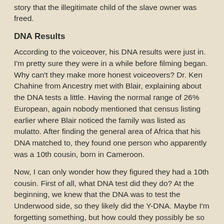story that the illegitimate child of the slave owner was freed.
DNA Results
According to the voiceover, his DNA results were just in. I'm pretty sure they were in a while before filming began. Why can't they make more honest voiceovers? Dr. Ken Chahine from Ancestry met with Blair, explaining about the DNA tests a little. Having the normal range of 26% European, again nobody mentioned that census listing earlier where Blair noticed the family was listed as mulatto. After finding the general area of Africa that his DNA matched to, they found one person who apparently was a 10th cousin, born in Cameroon.
Now, I can only wonder how they figured they had a 10th cousin. First of all, what DNA test did they do? At the beginning, we knew that the DNA was to test the Underwood side, so they likely did the Y-DNA. Maybe I'm forgetting something, but how could they possibly be so accurate? I certainly haven't looked at the DNA results on Ancestry, but is there anywhere that says the relationship given is just an estimate? That was not shown in the episode. I don't think they could possibly guarantee an exact result so far back.